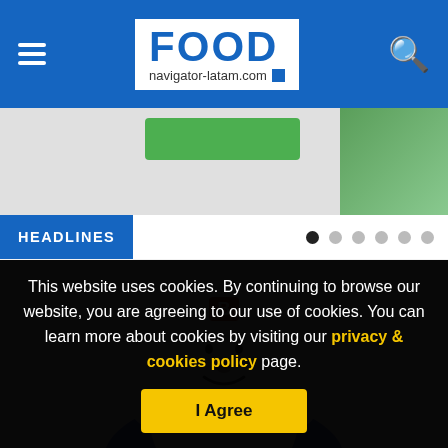FOOD navigator-latam.com
[Figure (screenshot): Website banner area with green button and partial image on right]
HEADLINES
[Figure (illustration): Pillsbury Doughboy character mascot with chef hat marked with letter B]
This website uses cookies. By continuing to browse our website, you are agreeing to our use of cookies. You can learn more about cookies by visiting our privacy & cookies policy page.
I Agree